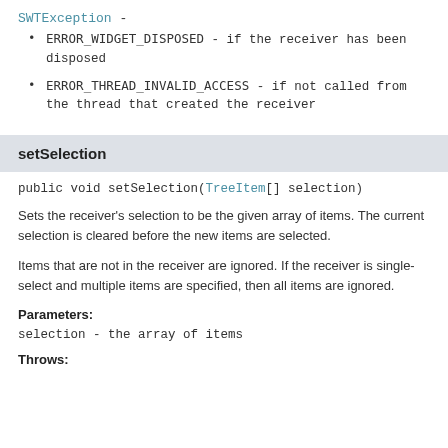SWTException -
ERROR_WIDGET_DISPOSED - if the receiver has been disposed
ERROR_THREAD_INVALID_ACCESS - if not called from the thread that created the receiver
setSelection
public void setSelection(TreeItem[] selection)
Sets the receiver's selection to be the given array of items. The current selection is cleared before the new items are selected.
Items that are not in the receiver are ignored. If the receiver is single-select and multiple items are specified, then all items are ignored.
Parameters:
selection - the array of items
Throws: